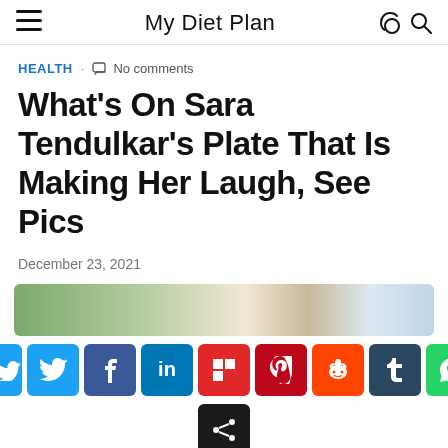My Diet Plan
HEALTH · No comments
What's On Sara Tendulkar's Plate That Is Making Her Laugh, See Pics
December 23, 2021
[Figure (photo): Partial photo of Sara Tendulkar outdoors with trees and sky visible]
[Figure (infographic): Social sharing buttons: Twitter, Facebook, LinkedIn, Flipboard, Pinterest, Reddit, Tumblr, WhatsApp, and a generic share button]